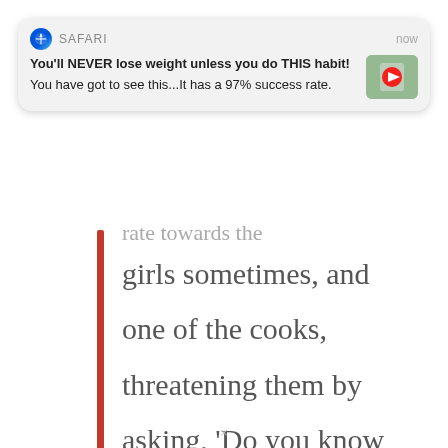[Figure (screenshot): Safari browser notification card showing: 'You'll NEVER lose weight unless you do THIS habit!' with subtitle 'You have got to see this...It has a 97% success rate.' and a thumbnail image. The notification shows 'SAFARI' and 'now' in the header.]
rate towards the girls sometimes, and one of the cooks, threatening them by asking, 'Do you know who I am?' And he would also send inappropriate texts